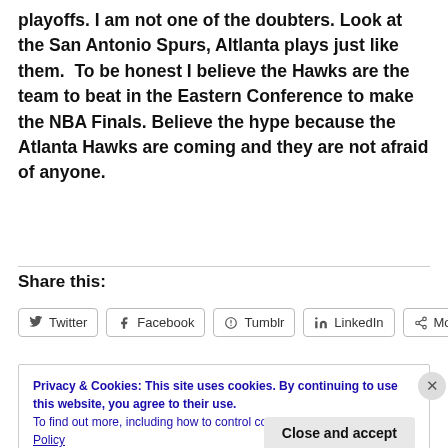playoffs. I am not one of the doubters. Look at the San Antonio Spurs, Altlanta plays just like them.  To be honest I believe the Hawks are the team to beat in the Eastern Conference to make the NBA Finals. Believe the hype because the Atlanta Hawks are coming and they are not afraid of anyone.
Share this:
Twitter | Facebook | Tumblr | LinkedIn | More
Privacy & Cookies: This site uses cookies. By continuing to use this website, you agree to their use.
To find out more, including how to control cookies, see here: Cookie Policy